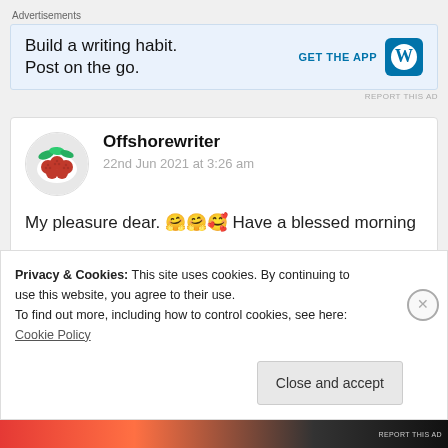Advertisements
[Figure (infographic): WordPress app advertisement banner: 'Build a writing habit. Post on the go.' with GET THE APP button and WordPress logo]
Offshorewriter
22nd Jun 2021 at 3:26 am
My pleasure dear. 🤗🤗🥰 Have a blessed morning
★ Liked by 2 people
Privacy & Cookies: This site uses cookies. By continuing to use this website, you agree to their use.
To find out more, including how to control cookies, see here: Cookie Policy
Close and accept